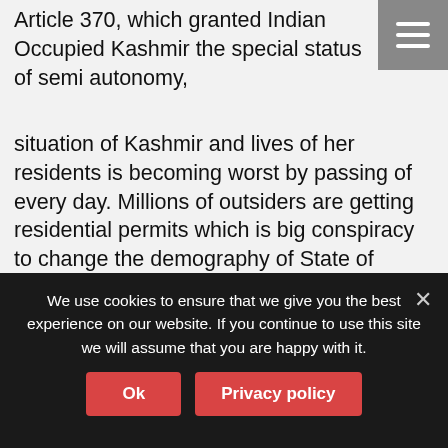Article 370, which granted Indian Occupied Kashmir the special status of semi autonomy, situation of Kashmir and lives of her residents is becoming worst by passing of every day. Millions of outsiders are getting residential permits which is big conspiracy to change the demography of State of Kashmir in favor of India. Such kind of acts are not only the violations of UN resolutions on Kashmir but also a great threat to the environment and eco system of valley.
Read more ▶
We use cookies to ensure that we give you the best experience on our website. If you continue to use this site we will assume that you are happy with it.